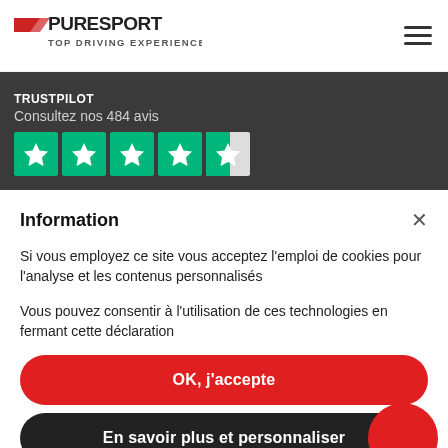[Figure (logo): PureSport Top Driving Experience logo with red racing stripe motif and hamburger menu icon]
[Figure (infographic): Trustpilot rating section on dark background: 'TRUSTPILOT', 'Consultez nos 484 avis', 4.5 green stars rating]
Information
Si vous employez ce site vous acceptez l'emploi de cookies pour l'analyse et les contenus personnalisés
Vous pouvez consentir à l'utilisation de ces technologies en fermant cette déclaration
OK, j'accepte
En savoir plus et personnaliser